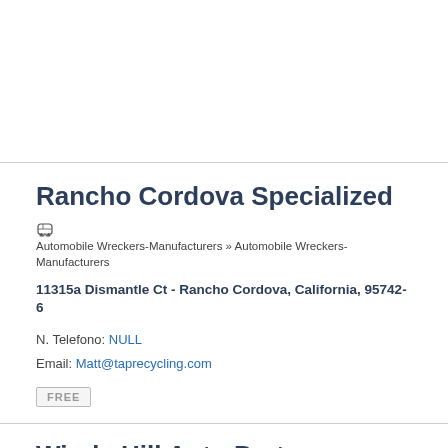[Top entry area - blank/ad area above]
Rancho Cordova Specialized
Automobile Wreckers-Manufacturers » Automobile Wreckers-Manufacturers
11315a Dismantle Ct - Rancho Cordova, California, 95742-6
N. Telefono: NULL
Email: Matt@taprecycling.com
FREE
Windy Hill Auto Parts
Automobile Wreckers-Manufacturers » Automobile Wreckers-